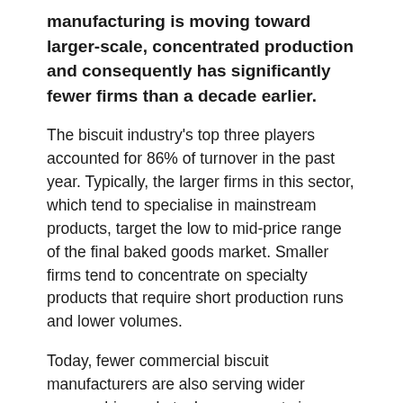manufacturing is moving toward larger-scale, concentrated production and consequently has significantly fewer firms than a decade earlier.
The biscuit industry's top three players accounted for 86% of turnover in the past year. Typically, the larger firms in this sector, which tend to specialise in mainstream products, target the low to mid-price range of the final baked goods market. Smaller firms tend to concentrate on specialty products that require short production runs and lower volumes.
Today, fewer commercial biscuit manufacturers are also serving wider geographic markets. Improvements in transportation methods, ownership consolidation, and the development of extended shelf-life products, are